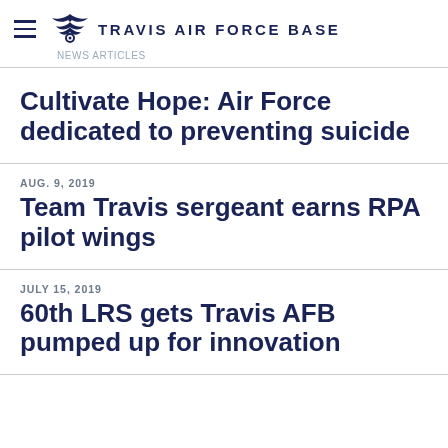TRAVIS AIR FORCE BASE
Cultivate Hope: Air Force dedicated to preventing suicide
AUG. 9, 2019
Team Travis sergeant earns RPA pilot wings
JULY 15, 2019
60th LRS gets Travis AFB pumped up for innovation